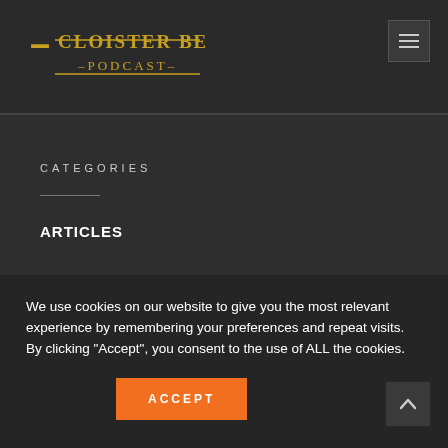Cloister Bell Podcast
CATEGORIES
ARTICLES
GAMES
NEWS
PODCAST
We use cookies on our website to give you the most relevant experience by remembering your preferences and repeat visits. By clicking “Accept”, you consent to the use of ALL the cookies.
ACCEPT